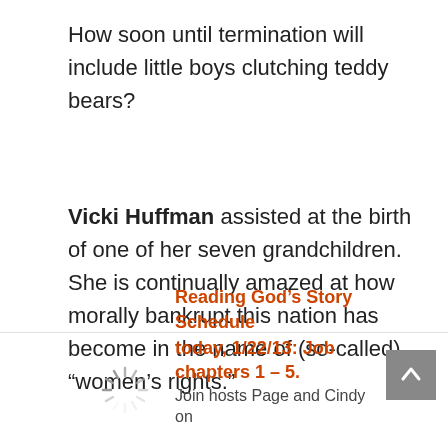How soon until termination will include little boys clutching teddy bears?
Vicki Huffman assisted at the birth of one of her seven grandchildren. She is continually amazed at how morally bankrupt this nation has become in the name of (so-called) “women’s rights.”
Reading God’s Story Schedule today, 1/22/13: Job chapters 1 – 5. Join hosts Page and Cindy on